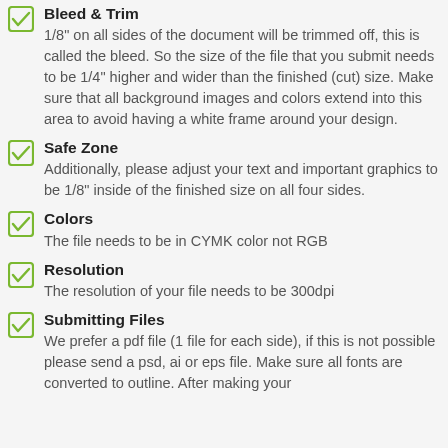Bleed & Trim
1/8" on all sides of the document will be trimmed off, this is called the bleed. So the size of the file that you submit needs to be 1/4" higher and wider than the finished (cut) size. Make sure that all background images and colors extend into this area to avoid having a white frame around your design.
Safe Zone
Additionally, please adjust your text and important graphics to be 1/8" inside of the finished size on all four sides.
Colors
The file needs to be in CYMK color not RGB
Resolution
The resolution of your file needs to be 300dpi
Submitting Files
We prefer a pdf file (1 file for each side), if this is not possible please send a psd, ai or eps file. Make sure all fonts are converted to outline. After making your